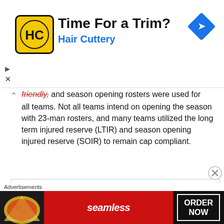[Figure (infographic): Hair Cuttery advertisement banner with logo, 'Time For a Trim?' headline, and navigation arrow icon]
friendly, and season opening rosters were used for all teams. Not all teams intend on opening the season with 23-man rosters, and many teams utilized the long term injured reserve (LTIR) and season opening injured reserve (SOIR) to remain cap compliant.
[Figure (bar-chart): Descending bar chart showing NHL roster breakdown by acquisition method, bars decline from left to right]
[Figure (infographic): Seamless food delivery advertisement with pizza image, seamless logo, and ORDER NOW button]